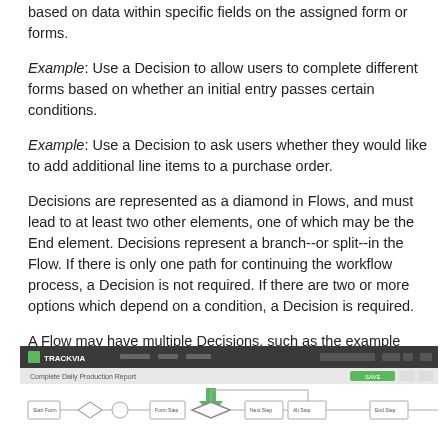based on data within specific fields on the assigned form or forms.
Example: Use a Decision to allow users to complete different forms based on whether an initial entry passes certain conditions.
Example: Use a Decision to ask users whether they would like to add additional line items to a purchase order.
Decisions are represented as a diamond in Flows, and must lead to at least two other elements, one of which may be the End element. Decisions represent a branch--or split--in the Flow. If there is only one path for continuing the workflow process, a Decision is not required. If there are two or more options which depend on a condition, a Decision is required.
A Flow may have multiple Decisions, such as the example below. A Decision may also have more than two branches.
[Figure (screenshot): Screenshot of TrackVia application showing a flow diagram with a green arrow pointing down to a decision diamond, and multiple connected flow elements including rectangles and diamonds.]